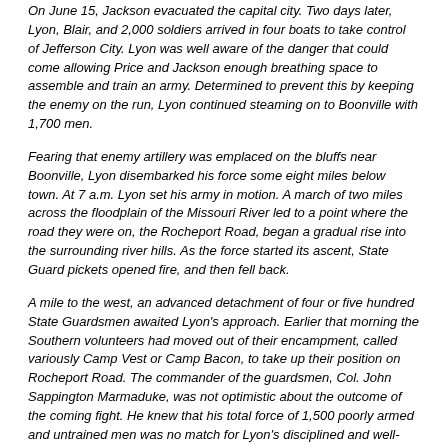On June 15, Jackson evacuated the capital city. Two days later, Lyon, Blair, and 2,000 soldiers arrived in four boats to take control of Jefferson City. Lyon was well aware of the danger that could come allowing Price and Jackson enough breathing space to assemble and train an army. Determined to prevent this by keeping the enemy on the run, Lyon continued steaming on to Boonville with 1,700 men.
Fearing that enemy artillery was emplaced on the bluffs near Boonville, Lyon disembarked his force some eight miles below town. At 7 a.m. Lyon set his army in motion. A march of two miles across the floodplain of the Missouri River led to a point where the road they were on, the Rocheport Road, began a gradual rise into the surrounding river hills. As the force started its ascent, State Guard pickets opened fire, and then fell back.
A mile to the west, an advanced detachment of four or five hundred State Guardsmen awaited Lyon's approach. Earlier that morning the Southern volunteers had moved out of their encampment, called variously Camp Vest or Camp Bacon, to take up their position on Rocheport Road. The commander of the guardsmen, Col. John Sappington Marmaduke, was not optimistic about the outcome of the coming fight. He knew that his total force of 1,500 poorly armed and untrained men was no match for Lyon's disciplined and well-equipped soldiers. Marmaduke urged Gov. Jackson to concentrate his forces further south, at Warsaw, where battle with the Federals could be had with terms more favorable to the Southerners. With a victory in hand, they might be able to launch a campaign to drive the Federals from the state. Jackson, however, was unwilling to depart from Boonville without offering a show of resistance,